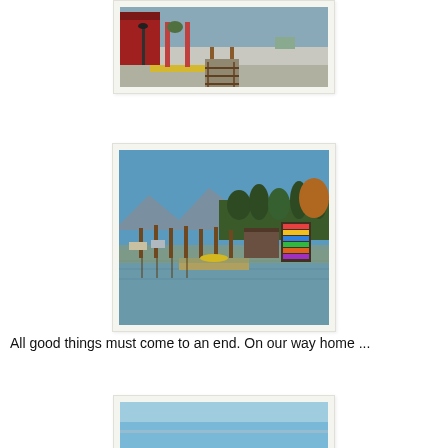[Figure (photo): Photo of a train station platform with red building, yellow tactile strip, and railway tracks leading into the distance.]
[Figure (photo): Photo of a marina/dock area with wooden pilings, colorful kayaks stacked on racks, calm water reflections, mountains and forest in the background under a clear blue sky.]
All good things must come to an end. On our way home ...
[Figure (photo): Partially visible photo showing a blue sky, beginning of another scene on the way home.]